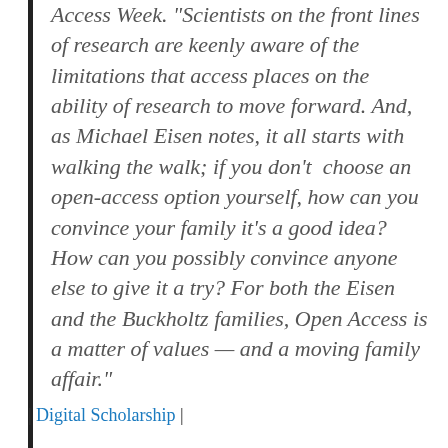Access Week. "Scientists on the front lines of research are keenly aware of the limitations that access places on the ability of research to move forward. And, as Michael Eisen notes, it all starts with walking the walk; if you don't choose an open-access option yourself, how can you convince your family it's a good idea? How can you possibly convince anyone else to give it a try? For both the Eisen and the Buckholtz families, Open Access is a matter of values — and a moving family affair."
| Digital Scholarship |